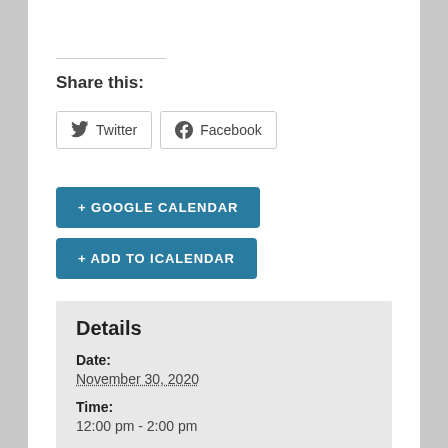Share this:
Twitter  Facebook
+ GOOGLE CALENDAR
+ ADD TO ICALENDAR
Details
Date:
November 30, 2020
Time:
12:00 pm - 2:00 pm
Cost: